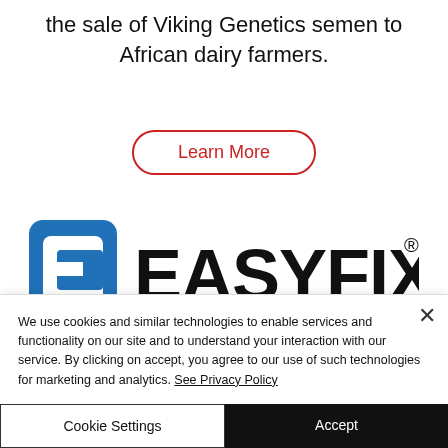the sale of Viking Genetics semen to African dairy farmers.
[Figure (other): Learn More button with red rounded border outline]
[Figure (logo): EASYFIX logo - blue square bracket icon on left with letter E, large bold black text EASYFIX with registered trademark symbol, red and blue horizontal stripe underline, tagline DESIGNED TO PERFORM below]
We use cookies and similar technologies to enable services and functionality on our site and to understand your interaction with our service. By clicking on accept, you agree to our use of such technologies for marketing and analytics. See Privacy Policy